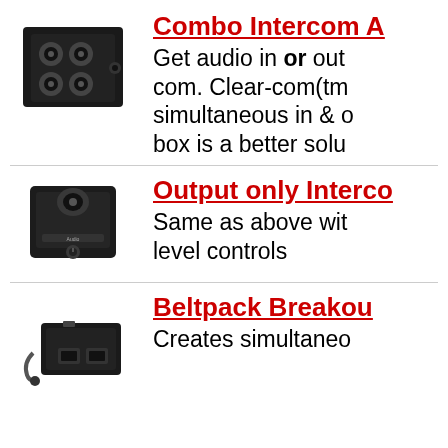[Figure (photo): Black audio breakout box with multiple XLR connectors on top]
Combo Intercom A...
Get audio in or out... com. Clear-com(tm... simultaneous in & o... box is a better solu...
[Figure (photo): Black rectangular audio interface box with XLR connector on top and controls on front]
Output only Interco...
Same as above wit... level controls
[Figure (photo): Black beltpack breakout box with cable and RJ45 connectors]
Beltpack Breakou...
Creates simultaneo...